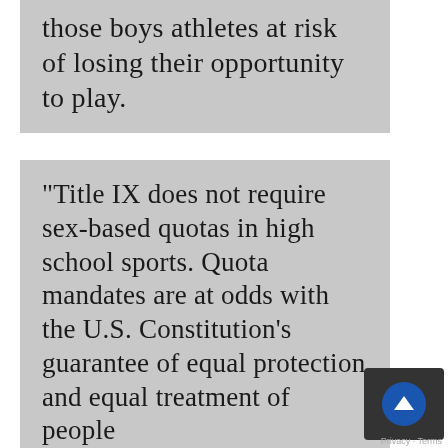sports would put those boys athletes at risk of losing their opportunity to play.
"Title IX does not require sex-based quotas in high school sports. Quota mandates are at odds with the U.S. Constitution's guarantee of equal protection and equal treatment of people regardless of sex."